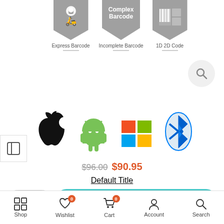[Figure (screenshot): Three gray pentagon/arrow banners: Express Barcode (delivery scooter icon), Complex Barcode (text label), 1D 2D Code (barcode+QR icon). Below each banner is a text label and a small horizontal line.]
Express Barcode
Incomplete Barcode
1D 2D Code
[Figure (illustration): Four platform icons: Apple (iOS), Android robot, Windows logo, Bluetooth logo]
$96.00 $90.95
Default Title
- 1 + ADD TO CART
Shop  Wishlist 0  Cart 0  Account  Search